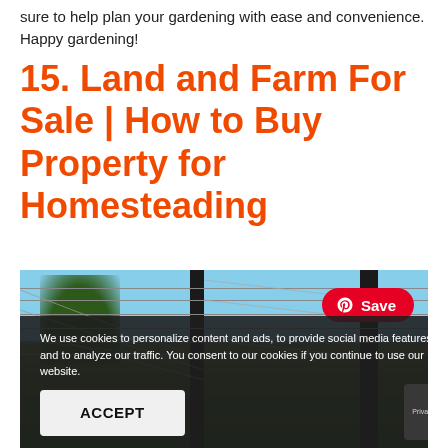sure to help plan your gardening with ease and convenience. Happy gardening!
15. Land and Farm For Sale | How to Buy Property for Homesteading
[Figure (photo): Photo of a wire/barbed-wire fence with wooden posts against a blue sky and green vegetation. Overlaid with a Pinterest 'Save' button in the top right corner, and a cookie consent banner at the bottom with an ACCEPT button and reCAPTCHA badge.]